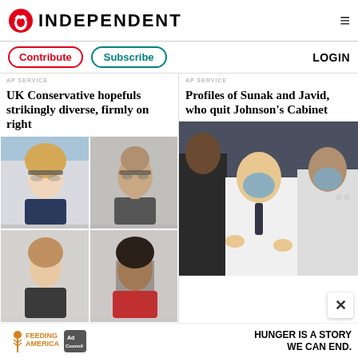INDEPENDENT
Contribute  Subscribe  LOGIN
UK Conservative hopefuls strikingly diverse, firmly on right
[Figure (photo): Grid of four UK Conservative leadership hopefuls: top-left woman with glasses and blonde hair, top-right bald man with glasses in suit, bottom-left person, bottom-right woman with dark hair]
Profiles of Sunak and Javid, who quit Johnson's Cabinet
[Figure (photo): Boris Johnson wearing a face mask, gesturing with hands, surrounded by other people in masks in an indoor setting]
[Figure (infographic): Feeding America ad: 'HUNGER IS A STORY WE CAN END.']